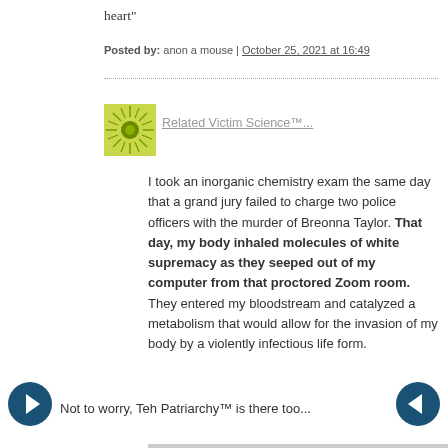heart"
Posted by: anon a mouse | October 25, 2021 at 16:49
[Figure (logo): Green sunburst / dandelion logo icon with yellow-green rays and a dark green circle in the center]
Related Victim Science™…
I took an inorganic chemistry exam the same day that a grand jury failed to charge two police officers with the murder of Breonna Taylor. That day, my body inhaled molecules of white supremacy as they seeped out of my computer from that proctored Zoom room. They entered my bloodstream and catalyzed a metabolism that would allow for the invasion of my body by a violently infectious life form.
Not to worry, Teh Patriarchy™ is there too…